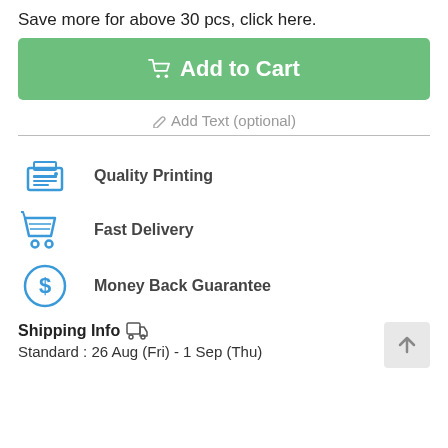Save more for above 30 pcs, click here.
[Figure (other): Green 'Add to Cart' button with shopping cart icon]
✏ Add Text (optional)
Quality Printing
Fast Delivery
Money Back Guarantee
Shipping Info 🚚
Standard : 26 Aug (Fri) - 1 Sep (Thu)